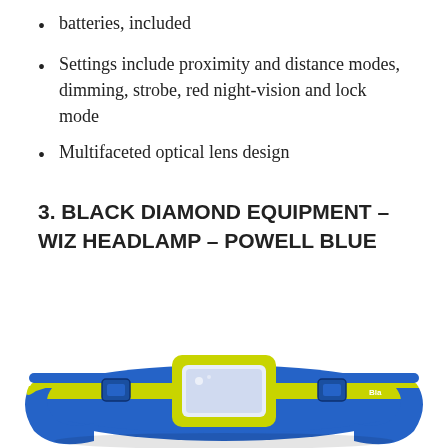batteries, included
Settings include proximity and distance modes, dimming, strobe, red night-vision and lock mode
Multifaceted optical lens design
3. BLACK DIAMOND EQUIPMENT – WIZ HEADLAMP – POWELL BLUE
[Figure (photo): A blue and yellow-green Black Diamond Wiz headlamp shown from the front, with the elastic headband visible and the rectangular LED lens housing in the center.]